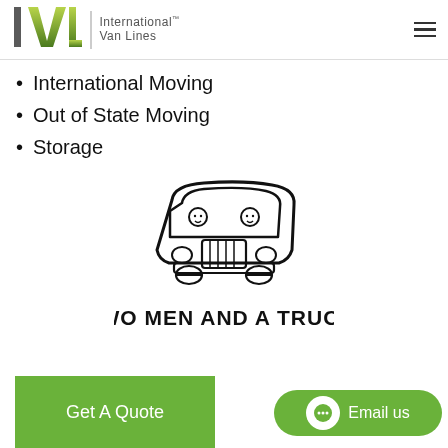IVL International Van Lines
International Moving
Out of State Moving
Storage
[Figure (logo): Two Men and a Truck logo: hand-drawn cartoon moving truck with two stick figures visible through windshield, above bold text reading 'TWO MEN AND A TRUCK.']
Get A Quote
Email us